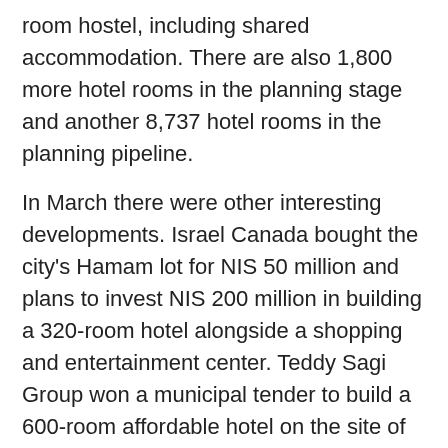room hostel, including shared accommodation. There are also 1,800 more hotel rooms in the planning stage and another 8,737 hotel rooms in the planning pipeline.
In March there were other interesting developments. Israel Canada bought the city's Hamam lot for NIS 50 million and plans to invest NIS 200 million in building a 320-room hotel alongside a shopping and entertainment center. Teddy Sagi Group won a municipal tender to build a 600-room affordable hotel on the site of the former airport, while the Israel Land Authority and Ministry of Tourism are issuing tenders for a 721-room hotel and commercial and industrial centers, on land at the former airport.
One of the first real estate developers to identify the new opportunities being offered by Eilat was Avi Carel, who is building a unique development in the Red Sea resort - a